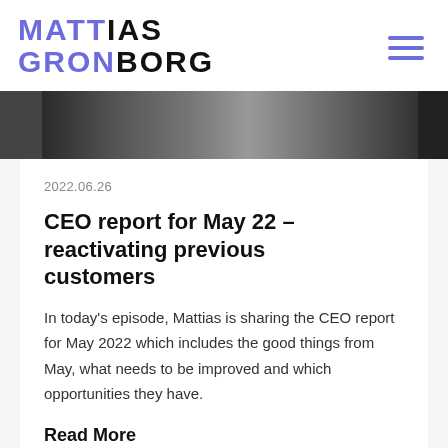MATTIAS GRONBORG
[Figure (photo): Hero image showing hands writing or handling documents, dark background]
2022.06.26
CEO report for May 22 – reactivating previous customers
In today's episode, Mattias is sharing the CEO report for May 2022 which includes the good things from May, what needs to be improved and which opportunities they have.
Read More